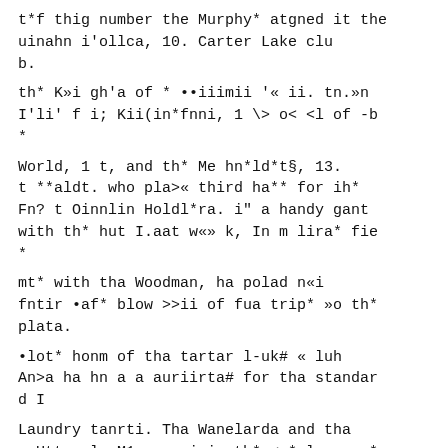t*f thig number the Murphy* atgned it the uinahn i'ollca, 10. Carter Lake club.
th* K»i gh'a of * ••iiimii '« ii. tn.»n I'li' f i; Kii(in*fnni, 1 \> o< <l of -b *
World, 1 t, and th* Me hn*ld*t§, 13. t **aldt. who pla>« third ha** for ih* Fn? t Oinnlin Holdl*ra. i" a handy gant with th* hut I.aat w«» k, In m lira* fie *
mt* with tha Woodman, ha polad n«i fntir •af* blow >>ii of fua trip* »o th* plata.
•lot* honm of tha tartar l-uk# « luh An>a ha hn a a auriirta# for tha standard I
Laundry tanrti. Tha Wanelarda and tha • Uttar l.uM1- rnaai in th* <p*nlng gam* 1